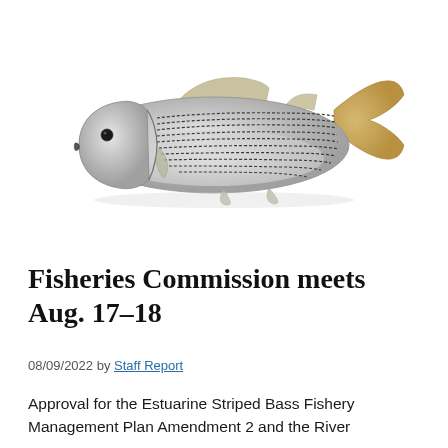[Figure (photo): A striped bass fish photographed on a white background, shown in profile facing left. The fish has distinct horizontal dark stripes along its silver-gray body with a yellowish tail fin.]
Fisheries Commission meets Aug. 17–18
08/09/2022 by Staff Report
Approval for the Estuarine Striped Bass Fishery Management Plan Amendment 2 and the River